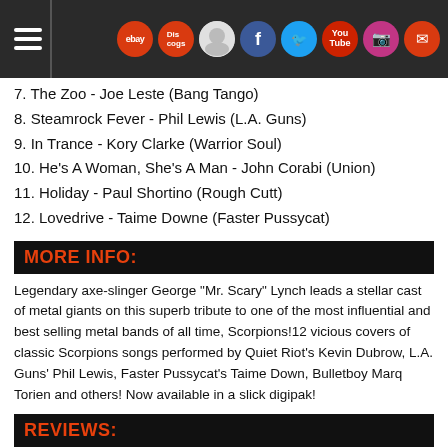Navigation bar with hamburger menu and social/site icons: eBay, Discogs, music, Facebook, Twitter, YouTube, Instagram, email
7. The Zoo - Joe Leste (Bang Tango)
8. Steamrock Fever - Phil Lewis (L.A. Guns)
9. In Trance - Kory Clarke (Warrior Soul)
10. He's A Woman, She's A Man - John Corabi (Union)
11. Holiday - Paul Shortino (Rough Cutt)
12. Lovedrive - Taime Downe (Faster Pussycat)
MORE INFO:
Legendary axe-slinger George "Mr. Scary" Lynch leads a stellar cast of metal giants on this superb tribute to one of the most influential and best selling metal bands of all time, Scorpions!12 vicious covers of classic Scorpions songs performed by Quiet Riot's Kevin Dubrow, L.A. Guns' Phil Lewis, Faster Pussycat's Taime Down, Bulletboy Marq Torien and others! Now available in a slick digipak!
REVIEWS:
[Figure (screenshot): Video thumbnail showing 'A TRIBUTE TO SCORPIONS' title text on dark background with pink/magenta graphic element, and a scroll-up button]